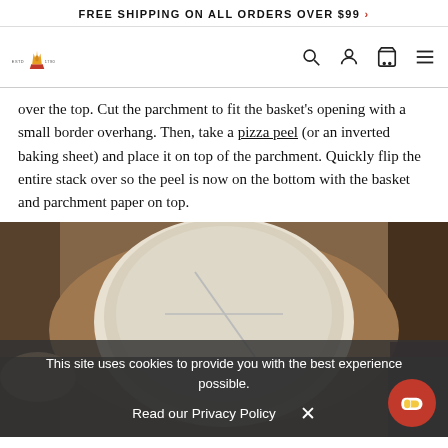FREE SHIPPING ON ALL ORDERS OVER $99 >
[Figure (logo): King Arthur Baking Company logo with crown/wheat icon, ESTD and 1790 text, along with navigation icons (search, user, cart, menu)]
over the top. Cut the parchment to fit the basket's opening with a small border overhang. Then, take a pizza peel (or an inverted baking sheet) and place it on top of the parchment. Quickly flip the entire stack over so the peel is now on the bottom with the basket and parchment paper on top.
[Figure (photo): Top-down view of a bread dough in a proofing basket (banneton) placed on a wooden cutting board/pizza peel, with hands visible on either side. A cookie consent overlay appears over the lower portion of the image.]
This site uses cookies to provide you with the best experience possible.
Read our Privacy Policy  ×